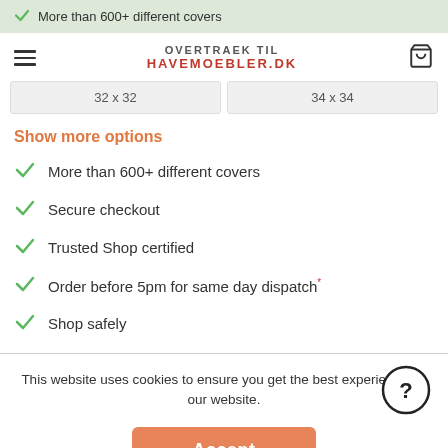More than 600+ different covers
OVERTRAEK TIL HAVEMOEBLER.DK
32 x 32   |   34 x 34
Show more options
More than 600+ different covers
Secure checkout
Trusted Shop certified
Order before 5pm for same day dispatch*
Shop safely
This website uses cookies to ensure you get the best experience on our website.
Accept